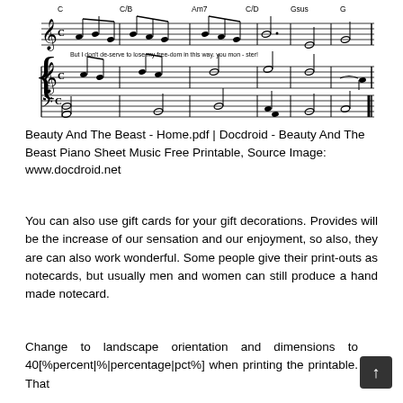[Figure (illustration): Sheet music excerpt showing piano staff with treble and bass clef. Chord symbols C, C/B, Am7, C/D, Gsus, G appear above the staff. Lyrics read: 'But I don't de-serve to lose my free-dom in this way. you mon-ster!']
Beauty And The Beast - Home.pdf | Docdroid - Beauty And The Beast Piano Sheet Music Free Printable, Source Image: www.docdroid.net
You can also use gift cards for your gift decorations. Provides will be the increase of our sensation and our enjoyment, so also, they are can also work wonderful. Some people give their print-outs as notecards, but usually men and women can still produce a hand made notecard.
Change to landscape orientation and dimensions to 40[%percent|%|percentage|pct%] when printing the printable. That